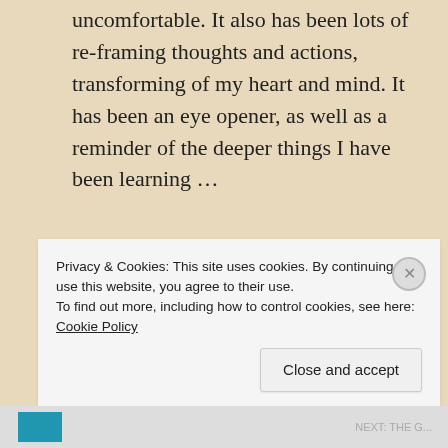uncomfortable. It also has been lots of re-framing thoughts and actions, transforming of my heart and mind. It has been an eye opener, as well as a reminder of the deeper things I have been learning ...
Continue reading
inkblotlife   Lent 2019, Life, Quotes, Uncategorized   1 Comment   April 15, 2019
Privacy & Cookies: This site uses cookies. By continuing to use this website, you agree to their use. To find out more, including how to control cookies, see here: Cookie Policy
Close and accept